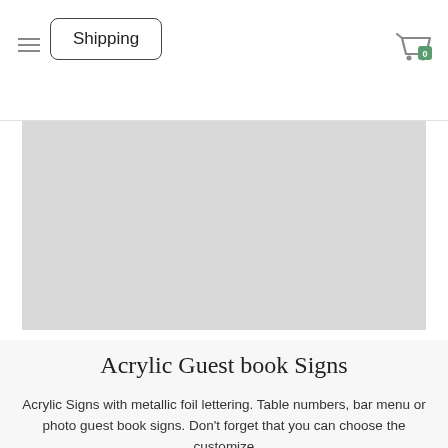Shipping
[Figure (photo): Large light gray rectangular placeholder image area]
Acrylic Guest book Signs
Acrylic Signs with metallic foil lettering. Table numbers, bar menu or photo guest book signs. Don't forget that you can choose the customize